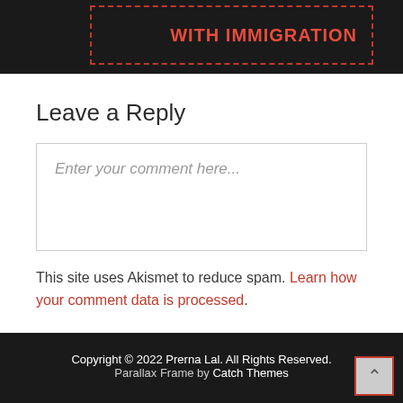WITH IMMIGRATION
Leave a Reply
Enter your comment here...
This site uses Akismet to reduce spam. Learn how your comment data is processed.
Copyright © 2022 Prerna Lal. All Rights Reserved. Parallax Frame by Catch Themes